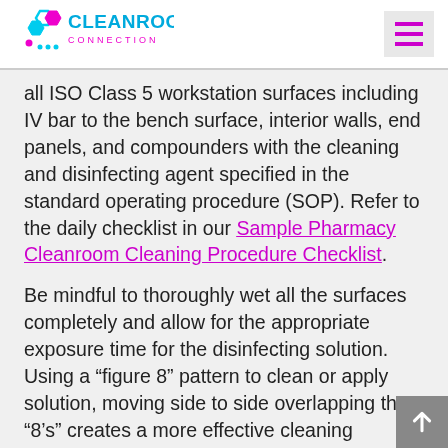Cleanroom Connection
all ISO Class 5 workstation surfaces including IV bar to the bench surface, interior walls, end panels, and compounders with the cleaning and disinfecting agent specified in the standard operating procedure (SOP). Refer to the daily checklist in our Sample Pharmacy Cleanroom Cleaning Procedure Checklist.
Be mindful to thoroughly wet all the surfaces completely and allow for the appropriate exposure time for the disinfecting solution. Using a “figure 8” pattern to clean or apply solution, moving side to side overlapping the “8’s” creates a more effective cleaning technique. Mops make quick work of flat surfaces especially expensive ones like floor